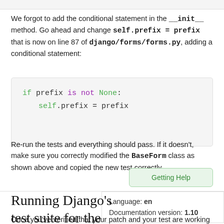We forgot to add the conditional statement in the __init__ method. Go ahead and change self.prefix = prefix that is now on line 87 of django/forms/forms.py, adding a conditional statement:
[Figure (screenshot): Code block showing: if prefix is not None: / self.prefix = prefix]
Re-run the tests and everything should pass. If it doesn't, make sure you correctly modified the BaseForm class as shown above and copied the new test correctly.
Getting Help
Language: en
Documentation version: 1.10
Running Django's test suite for the second time
Once you've verified that your patch and your test are working